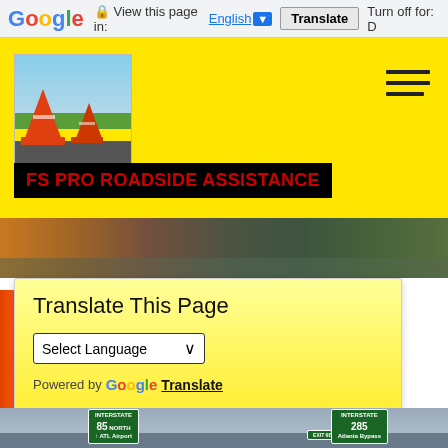Google  View this page in: English  Translate  Turn off for: D
[Figure (screenshot): Website screenshot of FS Pro Roadside Assistance with yellow header, traffic cone logo, hamburger menu, hero image, Google Translate widget, and highway sign footer image]
FS PRO ROADSIDE ASSISTANCE
Translate This Page
Select Language
Powered by Google Translate